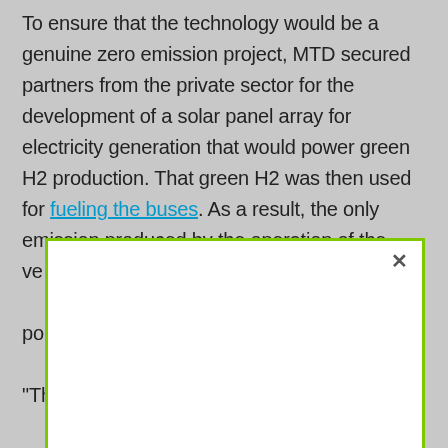To ensure that the technology would be a genuine zero emission project, MTD secured partners from the private sector for the development of a solar panel array for electricity generation that would power green H2 production. That green H2 was then used for fueling the buses. As a result, the only emission produced by the operation of the ve[...] po[...] "Th[...]'s
[Figure (other): A modal dialog box with a green border overlaying the text content, with a close (×) button in the top-right corner. The modal content area is white and largely empty in this view.]